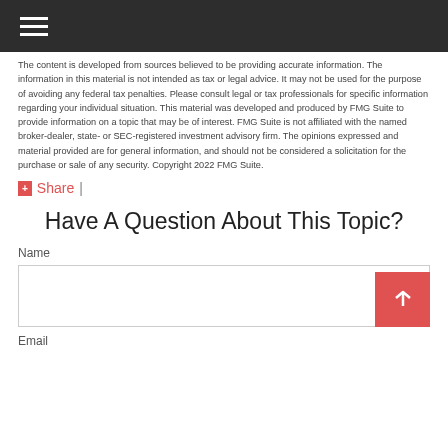Navigation menu icon
The content is developed from sources believed to be providing accurate information. The information in this material is not intended as tax or legal advice. It may not be used for the purpose of avoiding any federal tax penalties. Please consult legal or tax professionals for specific information regarding your individual situation. This material was developed and produced by FMG Suite to provide information on a topic that may be of interest. FMG Suite is not affiliated with the named broker-dealer, state- or SEC-registered investment advisory firm. The opinions expressed and material provided are for general information, and should not be considered a solicitation for the purchase or sale of any security. Copyright 2022 FMG Suite.
+ Share  |
Have A Question About This Topic?
Name
Email